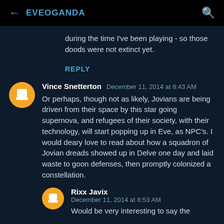EVEOGANDA
during the time I've been playing - so those doods were not extinct yet.
REPLY
Vince Snetterton  December 11, 2014 at 8:43 AM
Or perhaps, though not as likely, Jovians are being driven from their space by this star going supernova, and refugees of their society, with their technology, will start popping up in Eve, as NPC's. I would deary love to read about how a squadron of Jovian dreads showed up in Delve one day and laid waste to goon defenses, then promptly colonized a constellation.
Rixx Javix
December 11, 2014 at 8:53 AM
Would be very interesting to say the